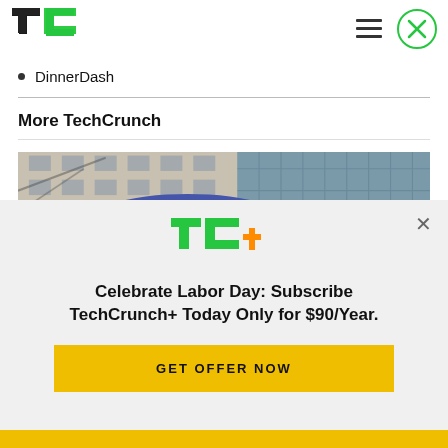[Figure (logo): TechCrunch TC logo in green]
DinnerDash
More TechCrunch
[Figure (photo): Samsung sign on building exterior with blue oval Samsung logo]
[Figure (logo): TC+ logo in green and orange]
Celebrate Labor Day: Subscribe TechCrunch+ Today Only for $90/Year.
GET OFFER NOW